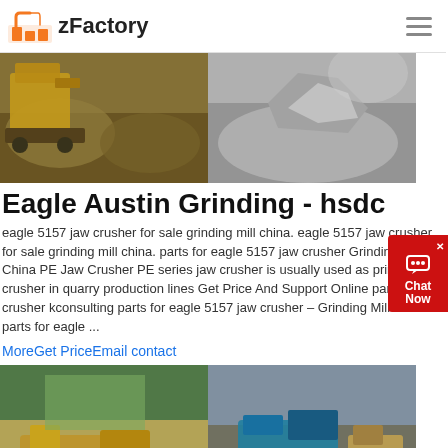zFactory
[Figure (photo): Two construction/quarry site photos side by side: left shows a yellow excavator among rocks, right shows a pile of aggregates with dust]
Eagle Austin Grinding - hsdc
eagle 5157 jaw crusher for sale grinding mill china. eagle 5157 jaw crusher for sale grinding mill china. parts for eagle 5157 jaw crusher Grinding Mill China PE Jaw Crusher PE series jaw crusher is usually used as primary crusher in quarry production lines Get Price And Support Online parts of line crusher kconsulting parts for eagle 5157 jaw crusher – Grinding Mill China parts for eagle ...
MoreGet PriceEmail contact
[Figure (photo): Two quarry site photos side by side: left shows mobile crushing equipment with yellow machinery near forested area, right shows a blue/green mobile crushing machine with dump trucks]